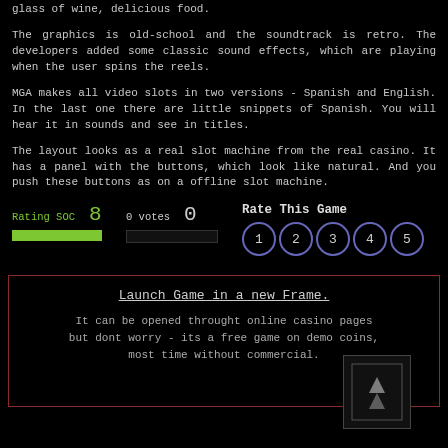glass of wine, delicious food.
The graphics is old-school and the soundtrack is retro. The developers added some classic sound effects, which are playing when the user spins the reels.
MGA makes all video slots in two versions - Spanish and English. In the last one there are little snippets of Spanish. You will hear it in sounds and see in titles.
The layout looks as a real slot machine from the real casino. It has a panel with the buttons, which look like natural. And you push these buttons as on a offline slot machine.
[Figure (infographic): Rating SOC: 8 with green bar, 0 votes with empty bar, Rate This Game buttons 1-5 in circular buttons]
Launch Game in a new Frame.

It can be opened throught online casino pages but dont worry - its a free game on demo coins, most time without commercial.